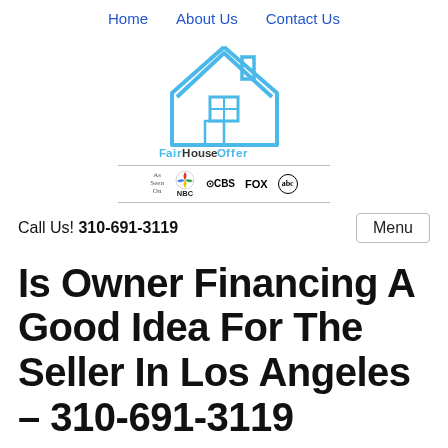Home   About Us   Contact Us
[Figure (logo): FairHouseOffer logo — house outline in blue with FairHouseOffer text and subtitle 'A division of Swing Real Estate LLC', plus media logos: As Seen On, NBC, CBS, FOX, abc]
Call Us! 310-691-3119
Is Owner Financing A Good Idea For The Seller In Los Angeles – 310-691-3119